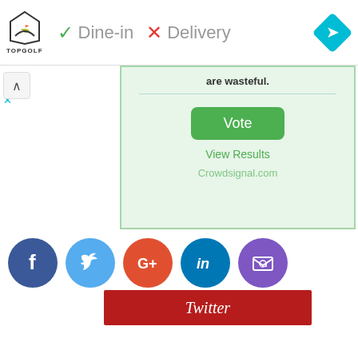[Figure (screenshot): Top ad bar with Topgolf logo, Dine-in checkmark, Delivery X mark, and blue navigation diamond icon]
are wasteful.
[Figure (screenshot): Poll widget with Vote button, View Results link, and Crowdsignal.com attribution on green background]
[Figure (screenshot): Social sharing icons: Facebook, Twitter, Google+, LinkedIn, Email]
Twitter